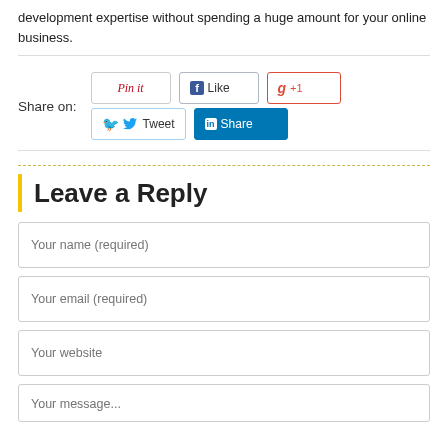development expertise without spending a huge amount for your online business.
Share on: [Pin it] [Like] [+1] [Tweet] [Share]
Leave a Reply
Your name (required)
Your email (required)
Your website
Your message...